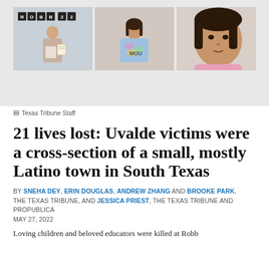[Figure (photo): Three photos of young girls, victims of the Uvalde school shooting. Left photo shows a girl holding a certificate in front of a banner reading 'ROBB 22'. Middle photo shows a girl in a colorful tie-dye shirt. Right photo is a close-up selfie of a girl in a pink shirt.]
Texas Tribune Staff
21 lives lost: Uvalde victims were a cross-section of a small, mostly Latino town in South Texas
BY SNEHA DEY, ERIN DOUGLAS, ANDREW ZHANG AND BROOKE PARK, THE TEXAS TRIBUNE, AND JESSICA PRIEST, THE TEXAS TRIBUNE AND PROPUBLICA
MAY 27, 2022
Loving children and beloved educators were killed at Robb